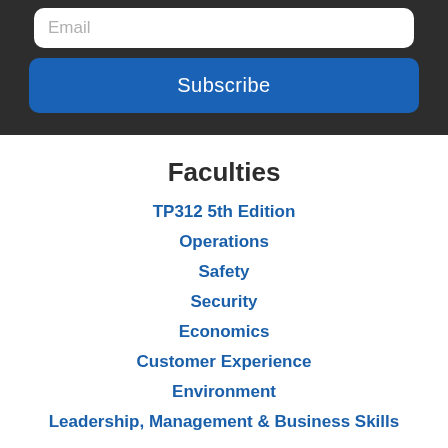Email
Subscribe
Faculties
TP312 5th Edition
Operations
Safety
Security
Economics
Customer Experience
Environment
Leadership, Management & Business Skills